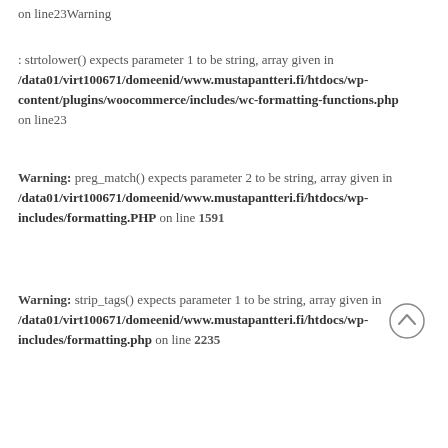on line23Warning
: strtolower() expects parameter 1 to be string, array given in /data01/virt100671/domeenid/www.mustapantteri.fi/htdocs/wp-content/plugins/woocommerce/includes/wc-formatting-functions.php on line23
Warning: preg_match() expects parameter 2 to be string, array given in /data01/virt100671/domeenid/www.mustapantteri.fi/htdocs/wp-includes/formatting.PHP on line 1591
Warning: strip_tags() expects parameter 1 to be string, array given in /data01/virt100671/domeenid/www.mustapantteri.fi/htdocs/wp-includes/formatting.php on line 2235